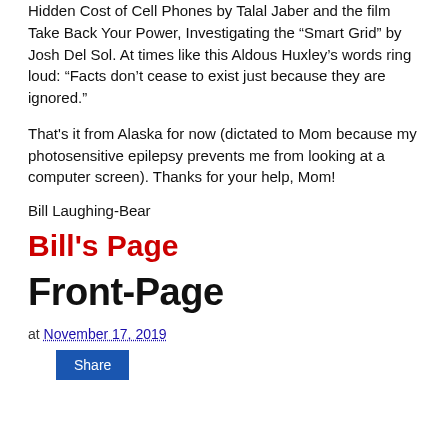Hidden Cost of Cell Phones by Talal Jaber and the film Take Back Your Power, Investigating the “Smart Grid” by Josh Del Sol. At times like this Aldous Huxley’s words ring loud: “Facts don’t cease to exist just because they are ignored.”
That's it from Alaska for now (dictated to Mom because my photosensitive epilepsy prevents me from looking at a computer screen). Thanks for your help, Mom!
Bill Laughing-Bear
Bill's Page
Front-Page
at November 17, 2019
Share